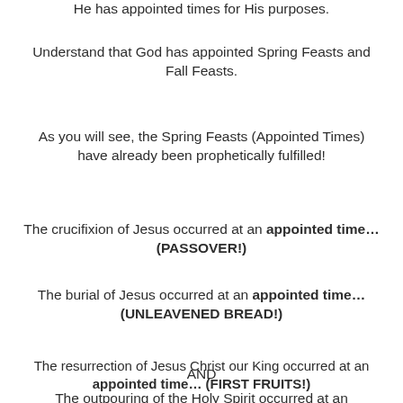He has appointed times for His purposes.
Understand that God has appointed Spring Feasts and Fall Feasts.
As you will see, the Spring Feasts (Appointed Times) have already been prophetically fulfilled!
The crucifixion of Jesus occurred at an appointed time… (PASSOVER!)
The burial of Jesus occurred at an appointed time… (UNLEAVENED BREAD!)
The resurrection of Jesus Christ our King occurred at an appointed time… (FIRST FRUITS!)
AND
The outpouring of the Holy Spirit occurred at an